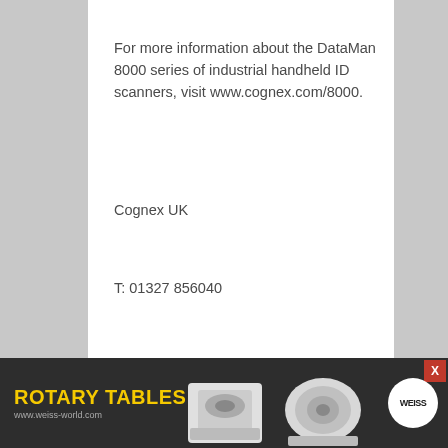For more information about the DataMan 8000 series of industrial handheld ID scanners, visit www.cognex.com/8000.
Cognex UK
T: 01327 856040
www.cognex.com
[Figure (screenshot): Share bar with SHARE: label and social media icon buttons: Facebook, Twitter, Google+, Tumblr, Pinterest, LinkedIn, Buffer, StumbleUpon]
[Figure (infographic): Advertisement banner for ROTARY TABLES by Weiss, www.weiss-world.com, showing two industrial rotary table products and Weiss logo on dark background]